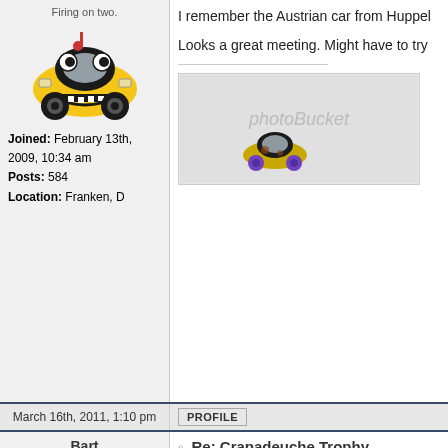[Figure (illustration): Yellow and black cartoon car avatar for forum user]
Firing on two.
Joined: February 13th, 2009, 10:34 am
Posts: 584
Location: Franken, D
I remember the Austrian car from Huppel

Looks a great meeting. Might have to try
[Figure (photo): Photobucket placeholder image with small car illustration]
March 16th, 2011, 1:10 pm
PROFILE
Bart
Firing on two.
Joined: February 12th, 2009, 6:17 pm
Posts: 316
Location: North
Re: Crapadeuche Trophy
Sorted my pictures of this meeting (2010
[Figure (photo): Photo of bare winter tree branches against a light sky]